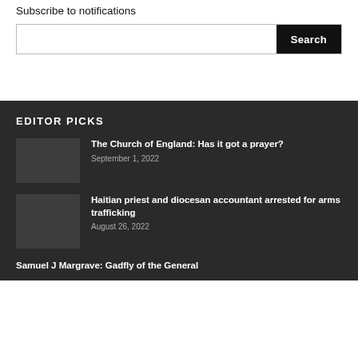Subscribe to notifications
[Figure (screenshot): Search bar with text input field and black Search button]
EDITOR PICKS
The Church of England: Has it got a prayer?
September 1, 2022
Haitian priest and diocesan accountant arrested for arms trafficking
August 26, 2022
Samuel J Margrave: Gadfly of the General